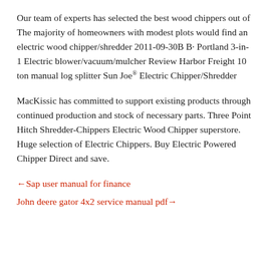Our team of experts has selected the best wood chippers out of The majority of homeowners with modest plots would find an electric wood chipper/shredder 2011-09-30B B· Portland 3-in-1 Electric blower/vacuum/mulcher Review Harbor Freight 10 ton manual log splitter Sun Joe B® Electric Chipper/Shredder
MacKissic has committed to support existing products through continued production and stock of necessary parts. Three Point Hitch Shredder-Chippers Electric Wood Chipper superstore. Huge selection of Electric Chippers. Buy Electric Powered Chipper Direct and save.
←Sap user manual for finance
John deere gator 4x2 service manual pdf→